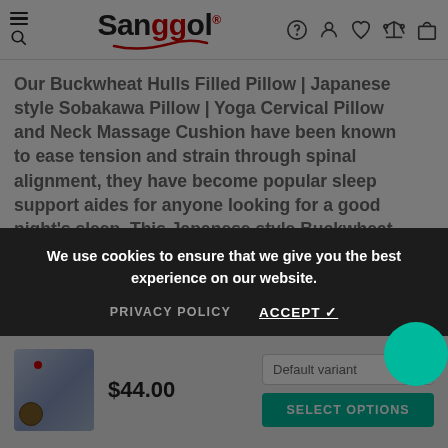[Figure (screenshot): Sanggol brand website header with logo, hamburger menu, search icon, and navigation icons (help, account, wishlist, compare, cart)]
Our Buckwheat Hulls Filled Pillow | Japanese style Sobakawa Pillow | Yoga Cervical Pillow and Neck Massage Cushion have been known to ease tension and strain through spinal alignment, they have become popular sleep support aides for anyone looking for a good night's sleep. This Japanese style Buckwheat Hull Orthopaedic Pillow and Neck Support Cushion does
We use cookies to ensure that we give you the best experience on our website.
PRIVACY POLICY   ACCEPT ✓
[Figure (photo): Small product thumbnail of a buckwheat pillow with dark floral pattern and a coin next to it]
$44.00
Default variant
SELECT OPTIONS